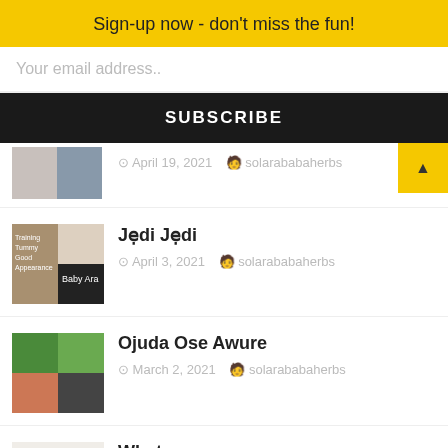Sign-up now - don't miss the fun!
Your email address..
SUBSCRIBE
[Figure (photo): Partial thumbnail of a person, cropped at top of screen]
April 19, 2021  solarababaherbs
Jẹdi Jẹdi
April 3, 2021  solarababaherbs
[Figure (photo): Thumbnail image for Jẹdi Jẹdi article showing training documents and a person]
Ojuda Ose Awure
March 2, 2021  solarababaherbs
[Figure (photo): Thumbnail image for Ojuda Ose Awure article showing money and a person]
What eve... Diabetes...
December 27, 2020  solarababaherbs
[Figure (photo): Thumbnail image for diabetes article showing alphabet blocks spelling ABEZ and hands]
Order for anything Here